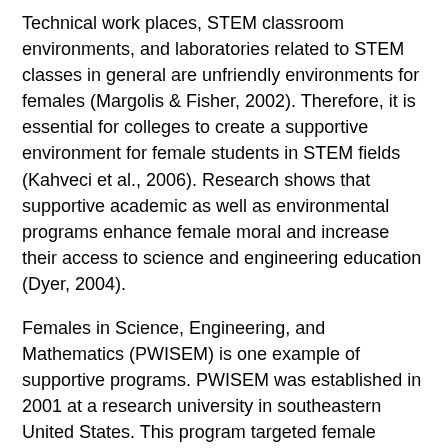Technical work places, STEM classroom environments, and laboratories related to STEM classes in general are unfriendly environments for females (Margolis & Fisher, 2002). Therefore, it is essential for colleges to create a supportive environment for female students in STEM fields (Kahveci et al., 2006). Research shows that supportive academic as well as environmental programs enhance female moral and increase their access to science and engineering education (Dyer, 2004).
Females in Science, Engineering, and Mathematics (PWISEM) is one example of supportive programs. PWISEM was established in 2001 at a research university in southeastern United States. This program targeted female undergraduates in STEM majors, particularly first-year students, to foster participation and enhance retention (Kahveci et al., 2006). The programs documented successes in preparing females for STEM studies and future STEM careers.
Women in Science and Engineering (WISE) is another successful program for decreasing women's rate of attrition from STEM fields in